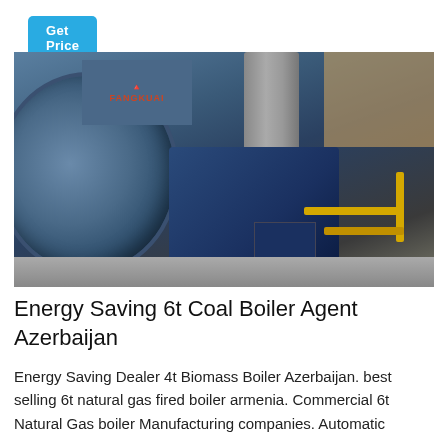Get Price
[Figure (photo): Industrial boiler equipment (Fangkuai brand) inside a warehouse, showing a large blue circular fan/blower on the left, a central blue boiler body with chimney stack, control panel with buttons, and yellow gas pipes on the right side.]
Energy Saving 6t Coal Boiler Agent Azerbaijan
Energy Saving Dealer 4t Biomass Boiler Azerbaijan. best selling 6t natural gas fired boiler armenia. Commercial 6t Natural Gas boiler Manufacturing companies. Automatic